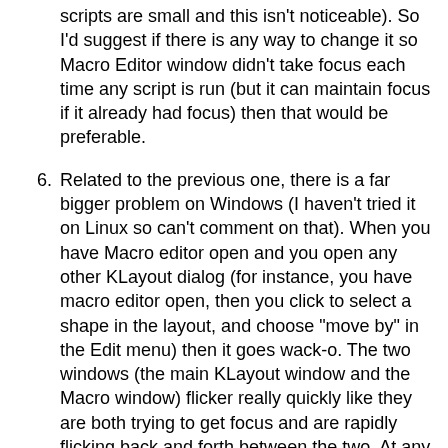(continuation) scripts are small and this isn't noticeable). So I'd suggest if there is any way to change it so Macro Editor window didn't take focus each time any script is run (but it can maintain focus if it already had focus) then that would be preferable.
6. Related to the previous one, there is a far bigger problem on Windows (I haven't tried it on Linux so can't comment on that). When you have Macro editor open and you open any other KLayout dialog (for instance, you have macro editor open, then you click to select a shape in the layout, and choose "move by" in the Edit menu) then it goes wack-o. The two windows (the main KLayout window and the Macro window) flicker really quickly like they are both trying to get focus and are rapidly flicking back and forth between the two. At any rate, both windows and the dialog box become unresponsive. If you try to click on either window during this period of confusion, windows takes over and tries to help - Windows greys out both windows and says "This program is unresponsive. Would you like to wait, kill it, or cancel this helpful dialog?" Sometimes it resolves itself if you wait but it usually takes 60 seconds of flickering, while other times it doesn't resolve within my